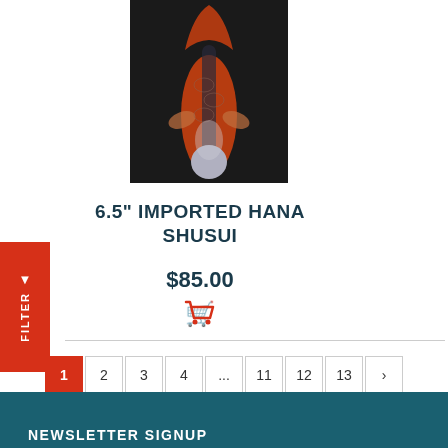[Figure (photo): Top-down view of an orange and black koi fish (Hana Shusui) against a dark background]
6.5" IMPORTED HANA SHUSUI
$85.00
[Figure (other): Red shopping cart icon]
1 2 3 4 ... 11 12 13 >
NEWSLETTER SIGNUP